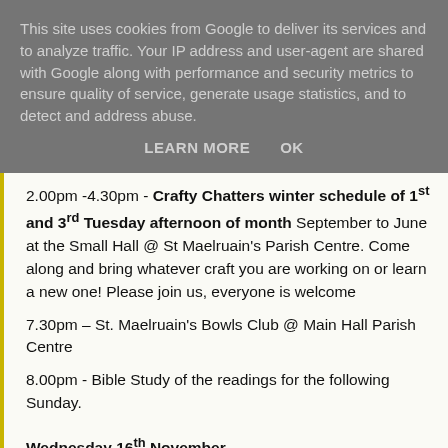This site uses cookies from Google to deliver its services and to analyze traffic. Your IP address and user-agent are shared with Google along with performance and security metrics to ensure quality of service, generate usage statistics, and to detect and address abuse.
LEARN MORE   OK
2.00pm -4.30pm - Crafty Chatters winter schedule of 1st and 3rd Tuesday afternoon of month September to June at the Small Hall @ St Maelruain's Parish Centre. Come along and bring whatever craft you are working on or learn a new one! Please join us, everyone is welcome
7.30pm – St. Maelruain's Bowls Club @ Main Hall Parish Centre
8.00pm - Bible Study of the readings for the following Sunday.
Wednesday 16th November
7.00pm - Girl's Brigade Juniors / Seniors 9 years +,